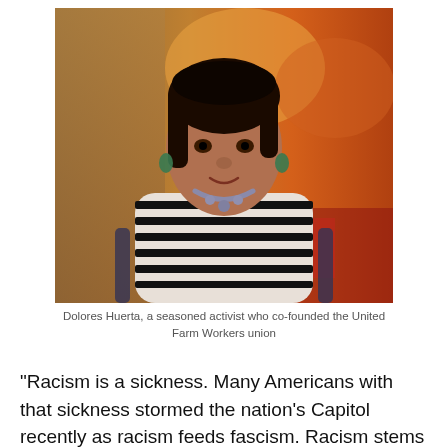[Figure (photo): Photograph of Dolores Huerta, an elderly woman with dark hair, wearing a black and white striped top and a beaded necklace, seated against a warm-toned blurred restaurant background.]
Dolores Huerta, a seasoned activist who co-founded the United Farm Workers union
“Racism is a sickness. Many Americans with that sickness stormed the nation’s Capitol recently as racism feeds fascism. Racism stems from ignorance and creates, hate, fear violence, and destruction,” Huerta Chavez told CNN in an interview remembering Dr. King